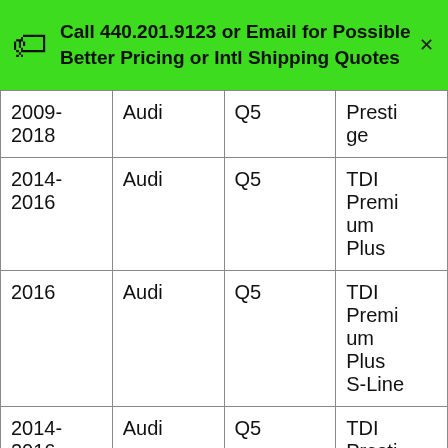Call 440.201.9123 or Email for Possible Better Pricing or Intl Shipping Quotes
| 2009-2018 | Audi | Q5 | Prestige |
| 2014-2016 | Audi | Q5 | TDI Premium Plus |
| 2016 | Audi | Q5 | TDI Premium Plus S-Line |
| 2014-2016 | Audi | Q5 | TDI Presti... |